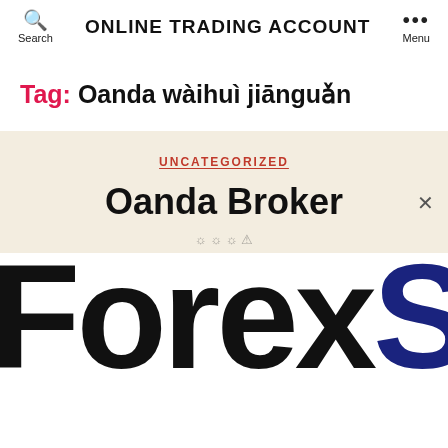ONLINE TRADING ACCOUNT
Tag: Oanda wàihuì jiānguǎn
UNCATEGORIZED
Oanda Broker
[Figure (logo): ForexS logo — 'Forex' in black bold lettering and 'S' in dark navy blue, large cropped text]